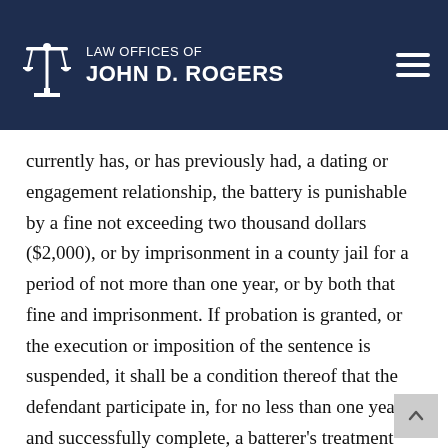LAW OFFICES OF JOHN D. ROGERS
cohabiting, a person who is the parent of the child of the defendant, a spouse, fiancé, or fiancée, a person with whom the defendant currently has, or has previously had, a dating or engagement relationship, the battery is punishable by a fine not exceeding two thousand dollars ($2,000), or by imprisonment in a county jail for a period of not more than one year, or by both that fine and imprisonment. If probation is granted, or the execution or imposition of the sentence is suspended, it shall be a condition thereof that the defendant participate in, for no less than one year, and successfully complete, a batterer's treatment program, as described in Section 1203.097, or if none is available, another appropriate counseling program designated by